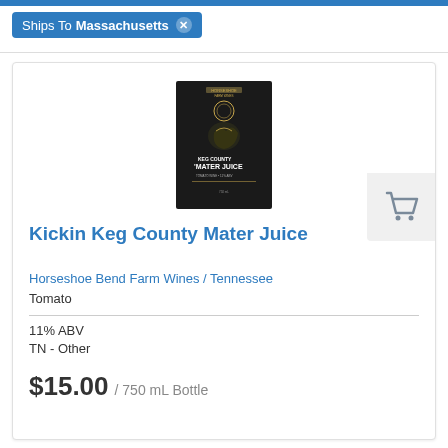Ships To Massachusetts ✕
[Figure (photo): Product image of Kickin Keg County Mater Juice wine bottle label — black label with gold text and illustration]
Kickin Keg County Mater Juice
Horseshoe Bend Farm Wines / Tennessee
Tomato
11% ABV
TN - Other
$15.00 / 750 mL Bottle